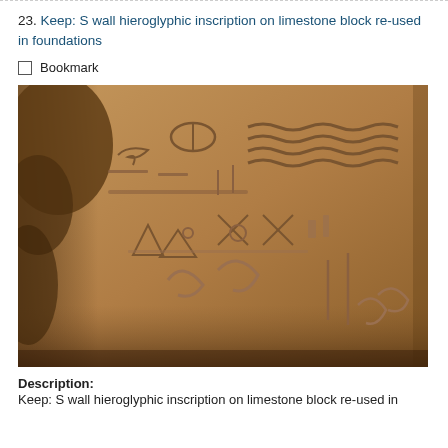23. Keep: S wall hieroglyphic inscription on limestone block re-used in foundations
Bookmark
[Figure (photo): Close-up photograph of a limestone block with ancient Egyptian hieroglyphic inscriptions carved in relief. The stone surface is sandy brown/tan in color showing various hieroglyphic symbols including wavy lines, oval cartouches, birds, and other carved motifs across the face of the block.]
Description:
Keep: S wall hieroglyphic inscription on limestone block re-used in